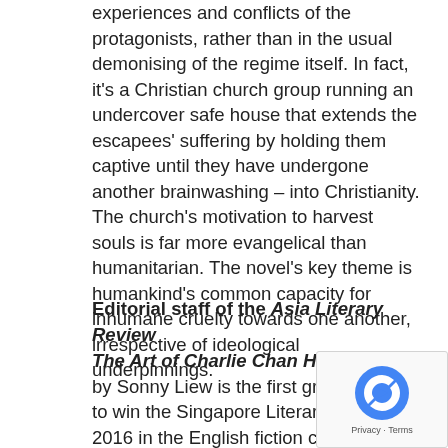experiences and conflicts of the protagonists, rather than in the usual demonising of the regime itself. In fact, it's a Christian church group running an undercover safe house that extends the escapees' suffering by holding them captive until they have undergone another brainwashing – into Christianity. The church's motivation to harvest souls is far more evangelical than humanitarian. The novel's key theme is humankind's common capacity for inhumane cruelty towards one another, irrespective of ideological underpinnings.
Editorial staff of the Asia Literary Review
The Art of Charlie Chan Hock Chye by Sonny Liew is the first graphic novel to win the Singapore Literary Prize 2016 in the English fiction category. Using a dazzling array of graphic art styles and a deft storytelling touch, the novel chronicles in parallel the life of a fictional comic book artist and the development of Singapore...